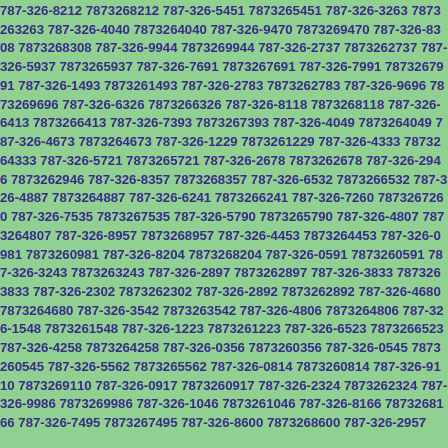787-326-8212 7873268212 787-326-5451 7873265451 787-326-3263 7873263263 787-326-4040 7873264040 787-326-9470 7873269470 787-326-8308 7873268308 787-326-9944 7873269944 787-326-2737 7873262737 787-326-5937 7873265937 787-326-7691 7873267691 787-326-7991 7873267991 787-326-1493 7873261493 787-326-2783 7873262783 787-326-9696 7873269696 787-326-6326 7873266326 787-326-8118 7873268118 787-326-6413 7873266413 787-326-7393 7873267393 787-326-4049 7873264049 787-326-4673 7873264673 787-326-1229 7873261229 787-326-4333 7873264333 787-326-5721 7873265721 787-326-2678 7873262678 787-326-2946 7873262946 787-326-8357 7873268357 787-326-6532 7873266532 787-326-4887 7873264887 787-326-6241 7873266241 787-326-7260 7873267260 787-326-7535 7873267535 787-326-5790 7873265790 787-326-4807 7873264807 787-326-8957 7873268957 787-326-4453 7873264453 787-326-0981 7873260981 787-326-8204 7873268204 787-326-0591 7873260591 787-326-3243 7873263243 787-326-2897 7873262897 787-326-3833 7873263833 787-326-2302 7873262302 787-326-2892 7873262892 787-326-4680 7873264680 787-326-3542 7873263542 787-326-4806 7873264806 787-326-1548 7873261548 787-326-1223 7873261223 787-326-6523 7873266523 787-326-4258 7873264258 787-326-0356 7873260356 787-326-0545 7873260545 787-326-5562 7873265562 787-326-0814 7873260814 787-326-9110 7873269110 787-326-0917 7873260917 787-326-2324 7873262324 787-326-9986 7873269986 787-326-1046 7873261046 787-326-8166 7873268166 787-326-7495 7873267495 787-326-8600 7873268600 787-326-2957